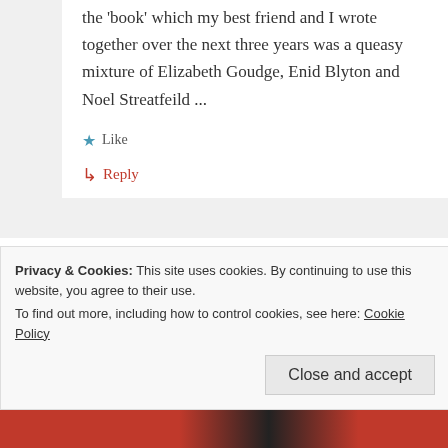the 'book' which my best friend and I wrote together over the next three years was a queasy mixture of Elizabeth Goudge, Enid Blyton and Noel Streatfeild ...
Like
Reply
Hilary Temple
December 29, 2016 at 16:01
Privacy & Cookies: This site uses cookies. By continuing to use this website, you agree to their use.
To find out more, including how to control cookies, see here: Cookie Policy
Close and accept